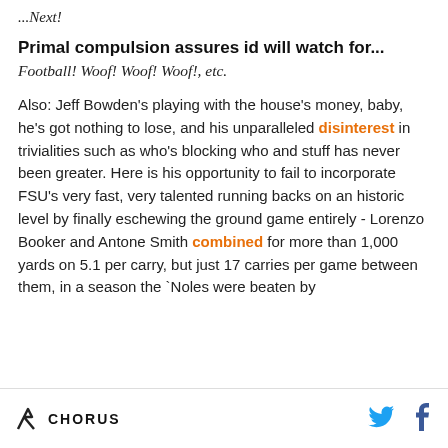...Next!
Primal compulsion assures id will watch for...
Football! Woof! Woof! Woof!, etc.
Also: Jeff Bowden's playing with the house's money, baby, he's got nothing to lose, and his unparalleled disinterest in trivialities such as who's blocking who and stuff has never been greater. Here is his opportunity to fail to incorporate FSU's very fast, very talented running backs on an historic level by finally eschewing the ground game entirely - Lorenzo Booker and Antone Smith combined for more than 1,000 yards on 5.1 per carry, but just 17 carries per game between them, in a season the `Noles were beaten by
CHORUS